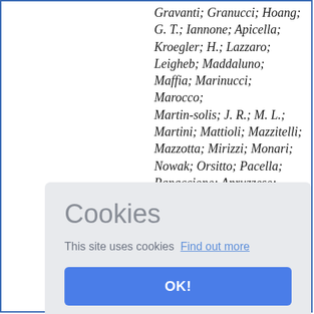Gravanti; Granucci; Hoang; G. T.; Iannone; Apicella; Kroegler; H.; Lazzaro; Leigheb; Maddaluno; Maffia; Marinucci; Marocco; Martin-solis; J. R.; M. L.; Martini; Mattioli; Mazzitelli; Mazzotta; Mirizzi; Monari; Nowak; Orsitto; Pacella; Panaccione; Apruzzese;
[Figure (screenshot): Cookie consent overlay dialog with title 'Cookies', body text 'This site uses cookies  Find out more', and an OK! button in blue.]
Terranova; Tilia; Tuccino; A.; A. Tudisco; Gottoli;